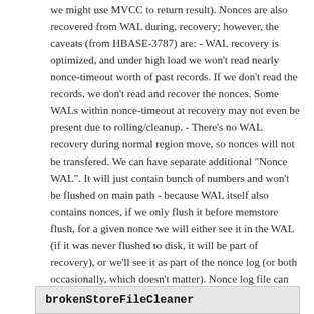we might use MVCC to return result). Nonces are also recovered from WAL during, recovery; however, the caveats (from HBASE-3787) are: - WAL recovery is optimized, and under high load we won't read nearly nonce-timeout worth of past records. If we don't read the records, we don't read and recover the nonces. Some WALs within nonce-timeout at recovery may not even be present due to rolling/cleanup. - There's no WAL recovery during normal region move, so nonces will not be transfered. We can have separate additional "Nonce WAL". It will just contain bunch of numbers and won't be flushed on main path - because WAL itself also contains nonces, if we only flush it before memstore flush, for a given nonce we will either see it in the WAL (if it was never flushed to disk, it will be part of recovery), or we'll see it as part of the nonce log (or both occasionally, which doesn't matter). Nonce log file can be deleted after the latest nonce in it expired. It can also be recovered during move.
brokenStoreFileCleaner